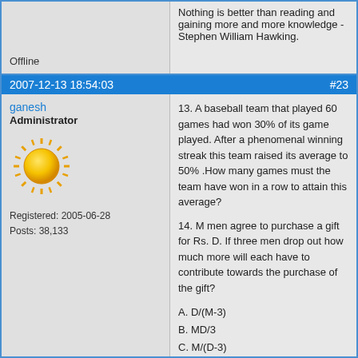Nothing is better than reading and gaining more and more knowledge - Stephen William Hawking.
Offline
2007-12-13 18:54:03   #23
ganesh
Administrator
Registered: 2005-06-28
Posts: 38,133
13. A baseball team that played 60 games had won 30% of its game played. After a phenomenal winning streak this team raised its average to 50% .How many games must the team have won in a row to attain this average?
14. M men agree to purchase a gift for Rs. D. If three men drop out how much more will each have to contribute towards the purchase of the gift?
A. D/(M-3)
B. MD/3
C. M/(D-3)
D. 3D/(M²-3M)
15. There are 5 red caps, and 4 green caps. If one draws randomly a  cap, what is the probability of getting a red cap?
It appears to me that if one wants to make progress in mathematics, one should study the masters and get the